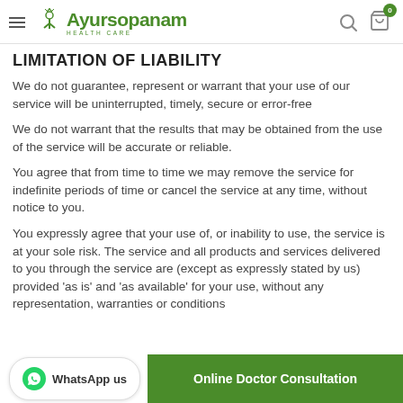Ayursopanam Healthcare
LIMITATION OF LIABILITY
We do not guarantee, represent or warrant that your use of our service will be uninterrupted, timely, secure or error-free
We do not warrant that the results that may be obtained from the use of the service will be accurate or reliable.
You agree that from time to time we may remove the service for indefinite periods of time or cancel the service at any time, without notice to you.
You expressly agree that your use of, or inability to use, the service is at your sole risk. The service and all products and services delivered to you through the service are (except as expressly stated by us) provided 'as is' and 'as available' for your use, without any representation, warranties or conditions of any kind, either express or implied, including all implied warranties or conditions of m